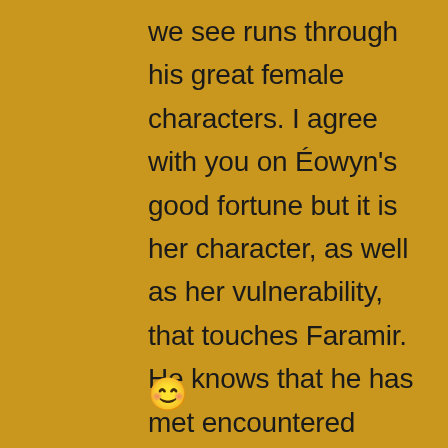we see runs through his great female characters. I agree with you on Éowyn's good fortune but it is her character, as well as her vulnerability, that touches Faramir. He knows that he has met encountered quality. God bless you, Anne Marie 🥹